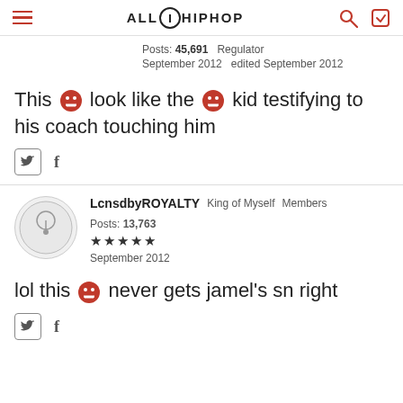ALLHIPHOP
Posts: 45,691  Regulator
September 2012  edited September 2012
This [emoji] look like the [emoji] kid testifying to his coach touching him
LcnsdbyROYALTY  King of Myself  Members  Posts: 13,763
★★★★★
September 2012
lol this [emoji] never gets jamel's sn right